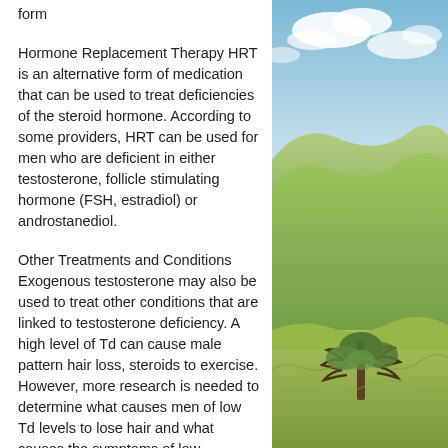form
Hormone Replacement Therapy HRT is an alternative form of medication that can be used to treat deficiencies of the steroid hormone. According to some providers, HRT can be used for men who are deficient in either testosterone, follicle stimulating hormone (FSH, estradiol) or androstanediol.
Other Treatments and Conditions Exogenous testosterone may also be used to treat other conditions that are linked to testosterone deficiency. A high level of Td can cause male pattern hair loss, steroids to exercise. However, more research is needed to determine what causes men of low Td levels to lose hair and what causes the symptoms of low testosterone levels to emerge, growth from steroids.
[Figure (photo): Outdoor landscape photograph showing rolling green hills under a blue sky with clouds, with a tree visible in the lower portion of the image.]